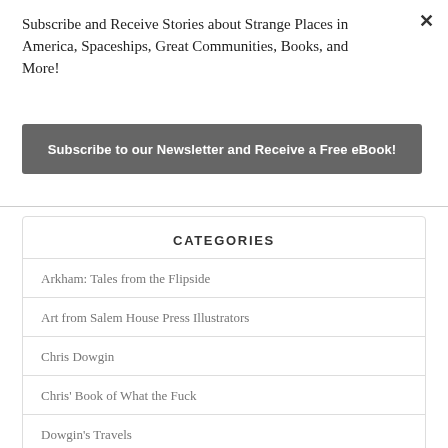Subscribe and Receive Stories about Strange Places in America, Spaceships, Great Communities, Books, and More!
Subscribe to our Newsletter and Receive a Free eBook!
CATEGORIES
Arkham: Tales from the Flipside
Art from Salem House Press Illustrators
Chris Dowgin
Chris' Book of What the Fuck
Dowgin's Travels